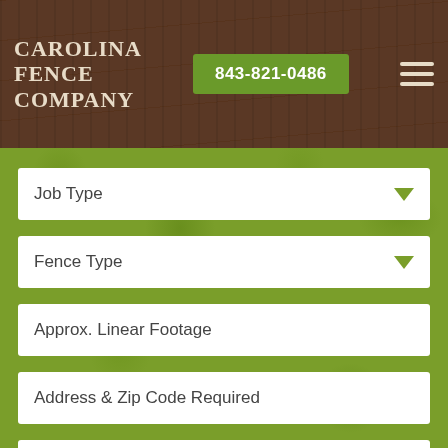CAROLINA FENCE COMPANY
843-821-0486
Job Type
Fence Type
Approx. Linear Footage
Address & Zip Code Required
Other Information/Comments